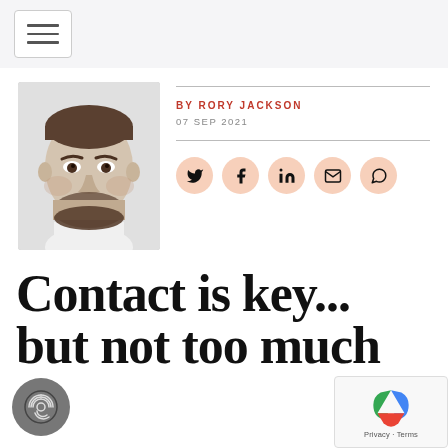Navigation menu
[Figure (photo): Black and white headshot portrait of Rory Jackson, a man with short hair and a beard, smiling, wearing a white shirt]
BY RORY JACKSON
07 SEP 2021
[Figure (infographic): Row of social sharing icon buttons: Twitter, Facebook, LinkedIn, Email, WhatsApp — each in a peach/salmon circular button]
Contact is key... but not too much